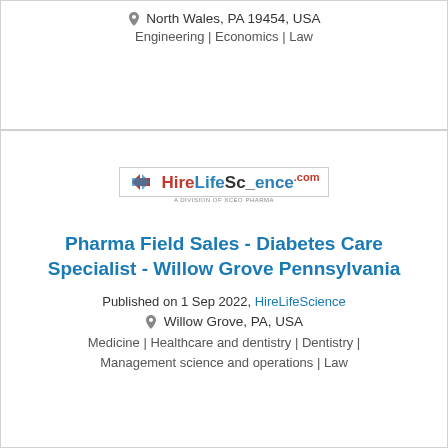📍 North Wales, PA 19454, USA
Engineering | Economics | Law
[Figure (logo): HireLifeScience.com logo with arrow icon]
Pharma Field Sales - Diabetes Care Specialist - Willow Grove Pennsylvania
Published on 1 Sep 2022, HireLifeScience
📍 Willow Grove, PA, USA
Medicine | Healthcare and dentistry | Dentistry | Management science and operations | Law